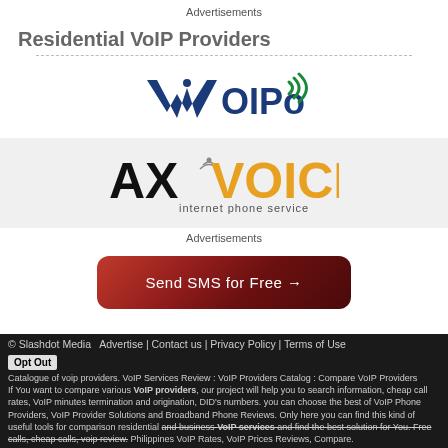Advertisements
Residential VoIP Providers
[Figure (logo): VoIPo logo in blue with wireless signal icon]
[Figure (logo): AXvoice internet phone service logo on grey background]
Advertisements
[Figure (other): Red gradient button: Send SMS for Free →]
© Slashdot Media   Advertise | Contact us | Privacy Policy | Terms of Use  Opt Out  Catalogue of voip providers. VoIP Services Review : VoIP Providers Catalog : Compare VoIP Providers If You want to compare various VoIP providers, our project will help you to search information, cheap call rates, VoIP minutes termination and origination, DID's numbers. you can choose the best of VoIP Phone Providers, VoIP Provider Solutions and Broadband Phone Reviews. Only here you can find this kind of useful tools for comparison residential and business VoIP services and find the best solution for You. Free calls, cheap calls, voip review. Philippines VoIP Rates, VoIP Prices Reviews, Compare.